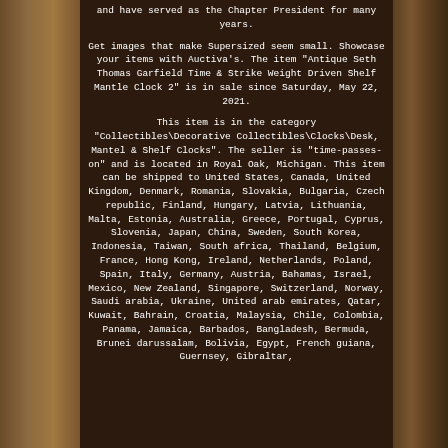and have served as the Chapter President for many years.
Get images that make Supersized seem small. Showcase your items with Auctiva's. The item "Antique Seth Thomas Garfield Time & Strike Weight Driven Shelf Mantle Clock 2" is in sale since Saturday, May 22, 2021.
This item is in the category "Collectibles\Decorative Collectibles\Clocks\Desk, Mantel & Shelf Clocks". The seller is "time-passes-on" and is located in Royal Oak, Michigan. This item can be shipped to United States, Canada, United Kingdom, Denmark, Romania, Slovakia, Bulgaria, Czech republic, Finland, Hungary, Latvia, Lithuania, Malta, Estonia, Australia, Greece, Portugal, Cyprus, Slovenia, Japan, China, Sweden, South Korea, Indonesia, Taiwan, South africa, Thailand, Belgium, France, Hong Kong, Ireland, Netherlands, Poland, Spain, Italy, Germany, Austria, Bahamas, Israel, Mexico, New Zealand, Singapore, Switzerland, Norway, Saudi arabia, Ukraine, United arab emirates, Qatar, Kuwait, Bahrain, Croatia, Malaysia, Chile, Colombia, Panama, Jamaica, Barbados, Bangladesh, Bermuda, Brunei darussalam, Bolivia, Egypt, French guiana, Guernsey, Gibraltar,